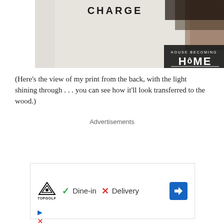[Figure (photo): Photo of a print held up to light, showing 'CHARGE' text at top and 'HOUSE BECOMING HOME' logo on the right side, viewed from the back]
(Here’s the view of my print from the back, with the light shining through . . . you can see how it’ll look transferred to the wood.)
Advertisements
[Figure (other): Advertisement banner featuring Topgolf logo, checkmark with Dine-in text, X with Delivery text, and a blue diamond arrow icon]